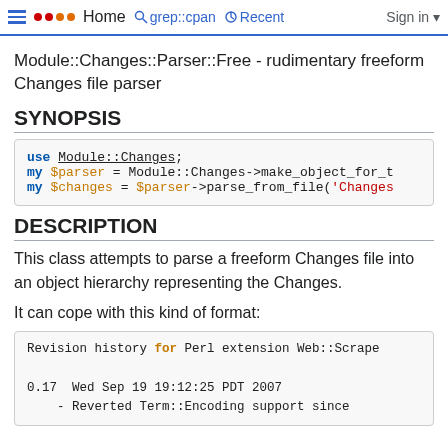Home | grep::cpan | Recent | Sign in
Module::Changes::Parser::Free - rudimentary freeform Changes file parser
SYNOPSIS
use Module::Changes;
my $parser = Module::Changes->make_object_for_t
my $changes = $parser->parse_from_file('Changes
DESCRIPTION
This class attempts to parse a freeform Changes file into an object hierarchy representing the Changes.
It can cope with this kind of format:
Revision history for Perl extension Web::Scrape
0.17  Wed Sep 19 19:12:25 PDT 2007
    - Reverted Term::Encoding support since